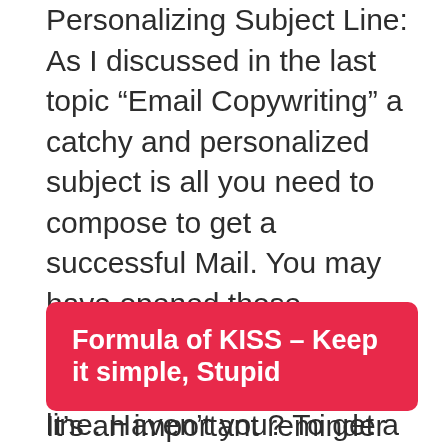Personalizing Subject Line: As I discussed in the last topic “Email Copywriting” a catchy and personalized subject is all you need to compose to get a successful Mail. You may have opened those unidentified emails which have your name in subject line. Haven’t you? To get a personalized email, write the name of subscriber or whatever grabs attention.
Formula of KISS – Keep it simple, Stupid
It’s an important reminder for you to not